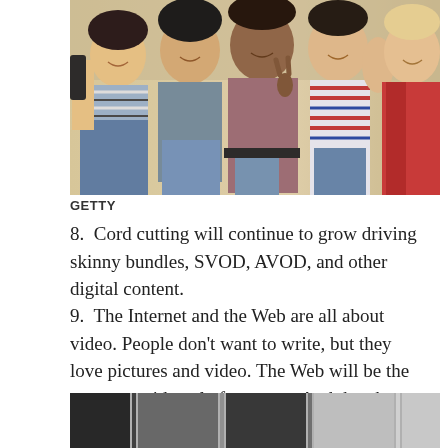[Figure (photo): Group of young women taking a selfie, smiling and posing together outdoors]
GETTY
8.  Cord cutting will continue to grow driving skinny bundles, SVOD, AVOD, and other digital content.
9.  The Internet and the Web are all about video. People don't want to write, but they love pictures and video. The Web will be the strongest video platform ever. And the phone becomes both a camera and a TV with more video content being consumed on smartphones.
[Figure (photo): Partial image of what appears to be smartphones or electronic devices]